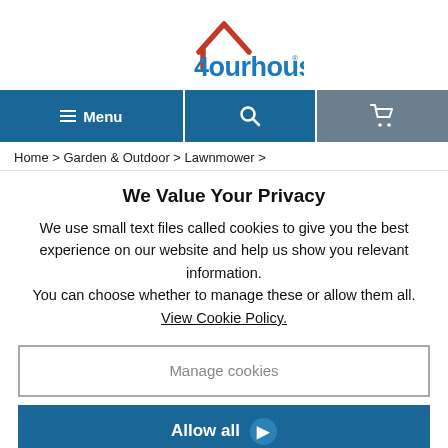[Figure (logo): 4ourhouse logo with red house roof icon and blue text '4ourhouse']
Menu | Search | Cart navigation bar
Home > Garden & Outdoor > Lawnmower >
We Value Your Privacy
We use small text files called cookies to give you the best experience on our website and help us show you relevant information.
You can choose whether to manage these or allow them all.
View Cookie Policy.